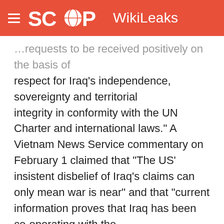SCOOP WikiLeaks
…requests to be received positively on the basis of respect for Iraq's independence, sovereignty and territorial integrity in conformity with the UN Charter and international laws." A Vietnam News Service commentary on February 1 claimed that "The US' insistent disbelief of Iraq's claims can only mean war is near" and that "current information proves that Iraq has been co-operating with the UN."